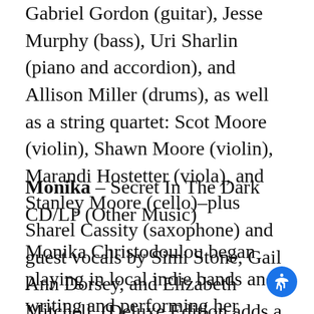Gabriel Gordon (guitar), Jesse Murphy (bass), Uri Sharlin (piano and accordion), and Allison Miller (drums), as well as a string quartet: Scot Moore (violin), Shawn Moore (violin), Marandi Hostetter (viola), and Stanley Moore (cello)–plus Sharel Cassity (saxophone) and guest vocals by Simi Stone, Gail Ann Dorsey, and Elizabeth Mitchell. (Deluxe Edition adds a documentary DVD.)
Monika – Secret In The Dark CD/LP (Other Music)
Monika Christodoulou began playing in local indie bands and writing and performing her original songs on the Athens, Greece music